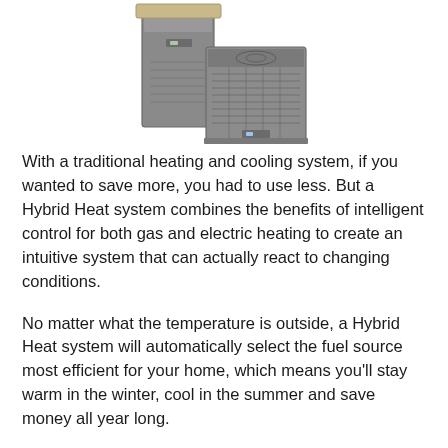[Figure (photo): HVAC hybrid heat system equipment: a grey furnace unit and a grey outdoor condenser/heat pump unit, shown together]
With a traditional heating and cooling system, if you wanted to save more, you had to use less. But a Hybrid Heat system combines the benefits of intelligent control for both gas and electric heating to create an intuitive system that can actually react to changing conditions.
No matter what the temperature is outside, a Hybrid Heat system will automatically select the fuel source most efficient for your home, which means you'll stay warm in the winter, cool in the summer and save money all year long.
To design a Hybrid Heat system for your home, we professionally match one of our heat pump units with a natural gas furnace. Contact us to see how